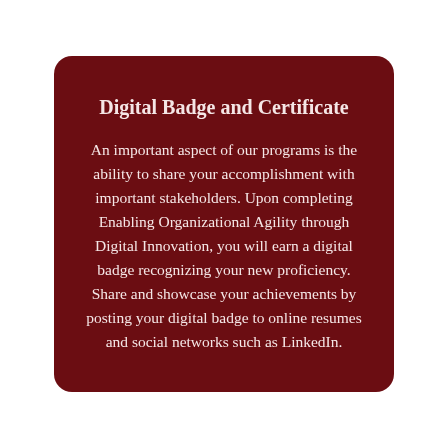Digital Badge and Certificate
An important aspect of our programs is the ability to share your accomplishment with important stakeholders. Upon completing Enabling Organizational Agility through Digital Innovation, you will earn a digital badge recognizing your new proficiency. Share and showcase your achievements by posting your digital badge to online resumes and social networks such as LinkedIn.